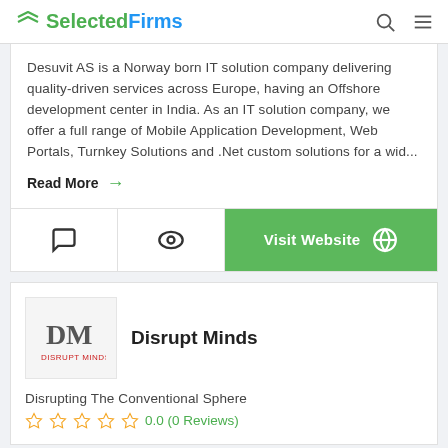SelectedFirms
Desuvit AS is a Norway born IT solution company delivering quality-driven services across Europe, having an Offshore development center in India. As an IT solution company, we offer a full range of Mobile Application Development, Web Portals, Turnkey Solutions and .Net custom solutions for a wid...
Read More →
Visit Website
Disrupt Minds
Disrupting The Conventional Sphere
0.0 (0 Reviews)